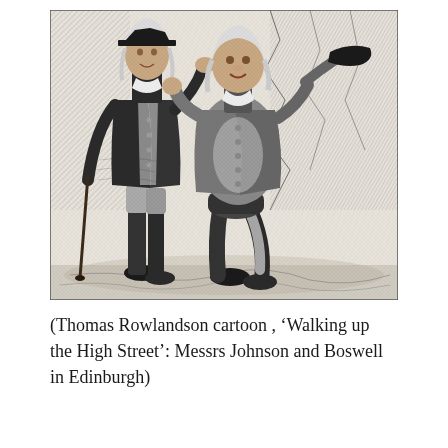[Figure (illustration): Thomas Rowlandson cartoon black and white engraving showing two portly gentlemen in 18th century attire walking — one tall with a cane, one shorter and rotund — identified as Messrs Johnson and Boswell walking up the High Street in Edinburgh.]
(Thomas Rowlandson cartoon , 'Walking up the High Street': Messrs Johnson and Boswell in Edinburgh)